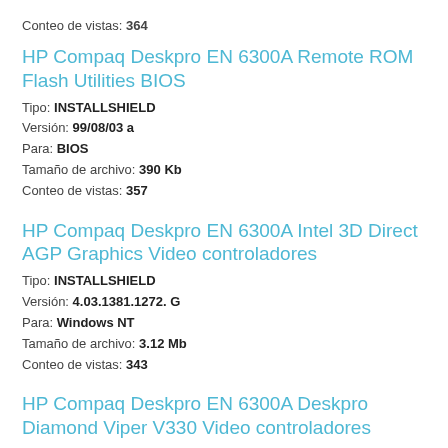Conteo de vistas: 364
HP Compaq Deskpro EN 6300A Remote ROM Flash Utilities BIOS
Tipo: INSTALLSHIELD
Versión: 99/08/03 a
Para: BIOS
Tamaño de archivo: 390 Kb
Conteo de vistas: 357
HP Compaq Deskpro EN 6300A Intel 3D Direct AGP Graphics Video controladores
Tipo: INSTALLSHIELD
Versión: 4.03.1381.1272. G
Para: Windows NT
Tamaño de archivo: 3.12 Mb
Conteo de vistas: 343
HP Compaq Deskpro EN 6300A Deskpro Diamond Viper V330 Video controladores
Tipo: INSTALLSHIELD